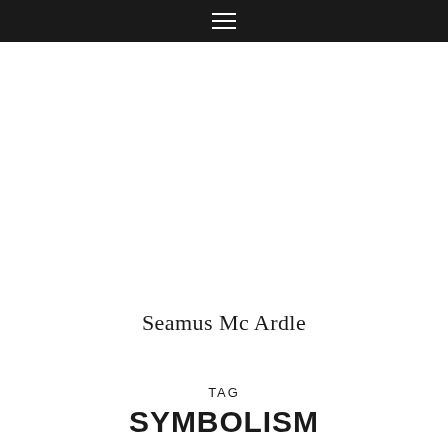☰
Seamus Mc Ardle
TAG
SYMBOLISM